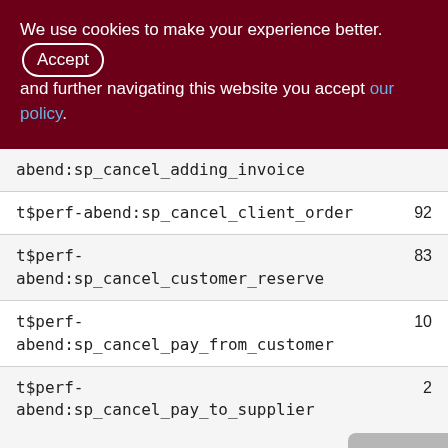We use cookies to make your experience better. By accepting and further navigating this website you accept our policy.
| Name | Value |
| --- | --- |
| abend:sp_cancel_adding_invoice |  |
| t$perf-abend:sp_cancel_client_order | 92 |
| t$perf-abend:sp_cancel_customer_reserve | 83 |
| t$perf-abend:sp_cancel_pay_from_customer | 10 |
| t$perf-abend:sp_cancel_pay_to_supplier | 2 |
| t$perf-abend:sp_cancel_supplier_invoice | 435 |